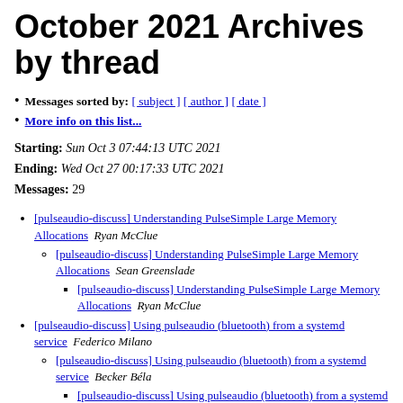October 2021 Archives by thread
Messages sorted by: [ subject ] [ author ] [ date ]
More info on this list...
Starting: Sun Oct 3 07:44:13 UTC 2021
Ending: Wed Oct 27 00:17:33 UTC 2021
Messages: 29
[pulseaudio-discuss] Understanding PulseSimple Large Memory Allocations  Ryan McClue
[pulseaudio-discuss] Understanding PulseSimple Large Memory Allocations  Sean Greenslade
[pulseaudio-discuss] Understanding PulseSimple Large Memory Allocations  Ryan McClue
[pulseaudio-discuss] Using pulseaudio (bluetooth) from a systemd service  Federico Milano
[pulseaudio-discuss] Using pulseaudio (bluetooth) from a systemd service  Becker Béla
[pulseaudio-discuss] Using pulseaudio (bluetooth) from a systemd service  Federico...